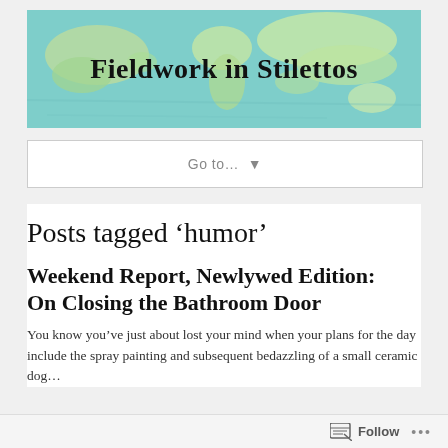[Figure (illustration): Blog header banner showing a world map in pastel green and teal tones with the blog title 'Fieldwork in Stilettos' written in a handwritten/comic-style black font overlaid in the center.]
Go to...  ▼
Posts tagged ‘humor’
Weekend Report, Newlywed Edition: On Closing the Bathroom Door
You know you’ve just about lost your mind when your plans for the day include the spray painting and subsequent bedazzling of a small ceramic dog...
Follow  •••